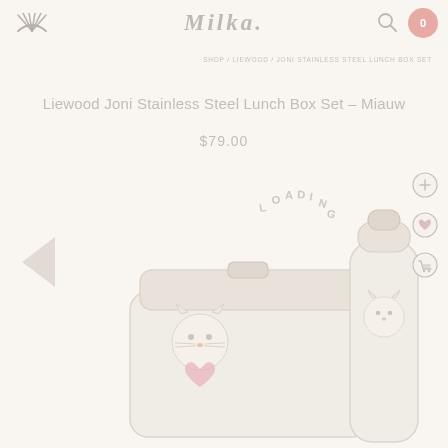Milka.
Liewood Joni Stainless Steel Lunch Box Set - Miauw
$79.00
[Figure (photo): Product photo showing a Liewood Joni stainless steel lunch box set with a cat/miauw design pattern - a bento-style lunch box and matching water bottle, both in cream/white with subtle cat face illustrations. A 'LOADING' text overlay appears curved in the center of the image.]